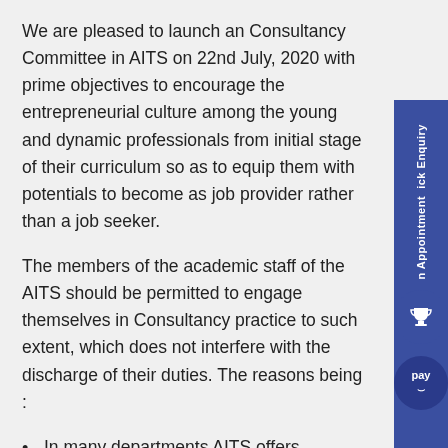We are pleased to launch an Consultancy Committee in AITS on 22nd July, 2020 with prime objectives to encourage the entrepreneurial culture among the young and dynamic professionals from initial stage of their curriculum so as to equip them with potentials to become as job provider rather than a job seeker.
The members of the academic staff of the AITS should be permitted to engage themselves in Consultancy practice to such extent, which does not interfere with the discharge of their duties. The reasons being :
In many departments AITS offers expertise and a host of specialized facilities